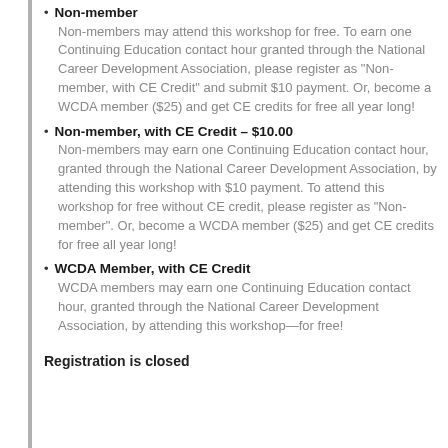Non-member: Non-members may attend this workshop for free. To earn one Continuing Education contact hour granted through the National Career Development Association, please register as "Non-member, with CE Credit" and submit $10 payment. Or, become a WCDA member ($25) and get CE credits for free all year long!
Non-member, with CE Credit – $10.00: Non-members may earn one Continuing Education contact hour, granted through the National Career Development Association, by attending this workshop with $10 payment. To attend this workshop for free without CE credit, please register as "Non-member". Or, become a WCDA member ($25) and get CE credits for free all year long!
WCDA Member, with CE Credit: WCDA members may earn one Continuing Education contact hour, granted through the National Career Development Association, by attending this workshop—for free!
Registration is closed